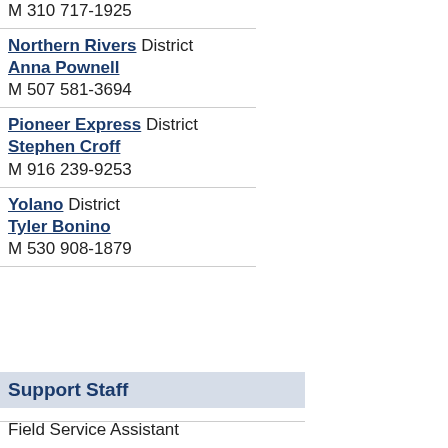M 310 717-1925
Northern Rivers District
Anna Pownell
M 507 581-3694
Pioneer Express District
Stephen Croff
M 916 239-9253
Yolano District
Tyler Bonino
M 530 908-1879
Support Staff
Field Service Assistant